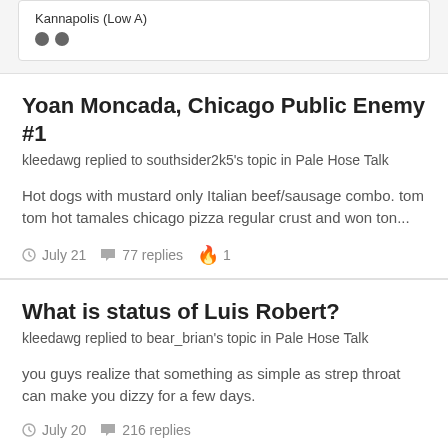Kannapolis (Low A)
●●
Yoan Moncada, Chicago Public Enemy #1
kleedawg replied to southsider2k5's topic in Pale Hose Talk
Hot dogs with mustard only Italian beef/sausage combo. tom tom hot tamales chicago pizza regular crust and won ton...
July 21  77 replies  🔥 1
What is status of Luis Robert?
kleedawg replied to bear_brian's topic in Pale Hose Talk
you guys realize that something as simple as strep throat can make you dizzy for a few days.
July 20  216 replies